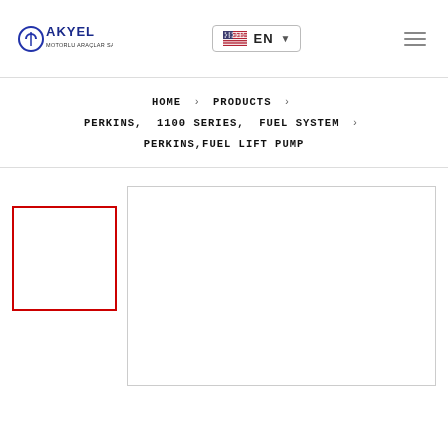AKYEL - EN
HOME > PRODUCTS > PERKINS, 1100 SERIES, FUEL SYSTEM > PERKINS,FUEL LIFT PUMP
[Figure (photo): Product thumbnail placeholder box with red border]
[Figure (photo): Main product image panel with light gray border]